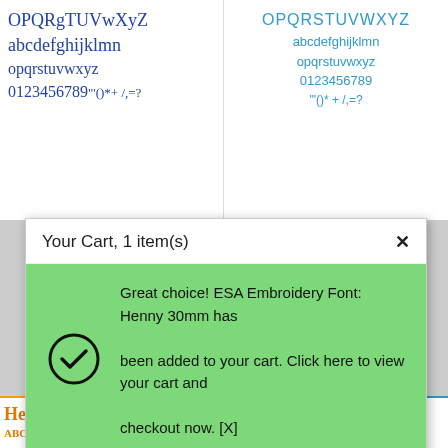[Figure (illustration): Background top-left: cursive blue font preview showing OPQRgTUVwXYZ abcdefghijklmn opqrstuvwxyz 0123456789 with partial bottom]
[Figure (illustration): Background top-right: block teal font preview showing OPQRSTUVWXYZ abcdefghijklmn opqrstuvwxyz 0123456789]
Your Cart, 1 item(s)
Great choice! ESA Embroidery Font: Henny 30mm has been added to your cart. Click here to view your cart and checkout now. [X]
[Figure (illustration): Henny 30mm embroidery font preview: title 'Henny 30mm' followed by full alphabet and numbers in teal serif decorative font]
ESA Embroidery Font: Henny 30mm    $9.95
[Figure (illustration): Bottom left: orange/gold Henny font preview strip showing title and ABCDEFGHIJKLMN]
[Figure (illustration): Bottom right: teal Henny font preview strip showing title and ABCDEFGHI]